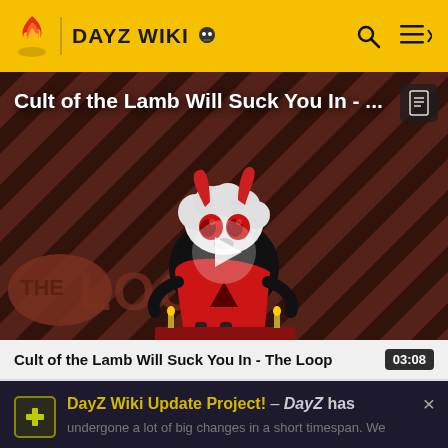DAYZ WIKI
[Figure (screenshot): Video thumbnail showing 'Cult of the Lamb Will Suck You In - ...' with a cartoon lamb character on a striped red/black background and 'THE LOOP' text, with a play button overlay]
Cult of the Lamb Will Suck You In - The Loop  03:08
DayZ Wiki Update Project! – DayZ has undergone a lot of big changes in a short timespan. We
READ MORE